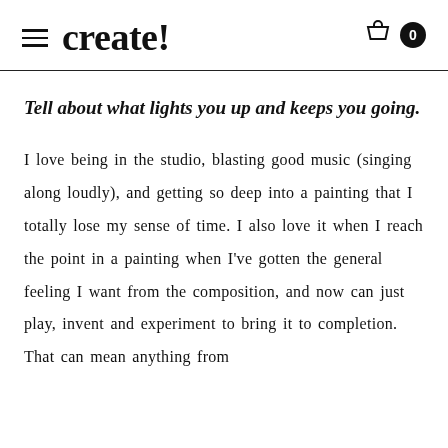create!
Tell about what lights you up and keeps you going.
I love being in the studio, blasting good music (singing along loudly), and getting so deep into a painting that I totally lose my sense of time. I also love it when I reach the point in a painting when I've gotten the general feeling I want from the composition, and now can just play, invent and experiment to bring it to completion. That can mean anything from